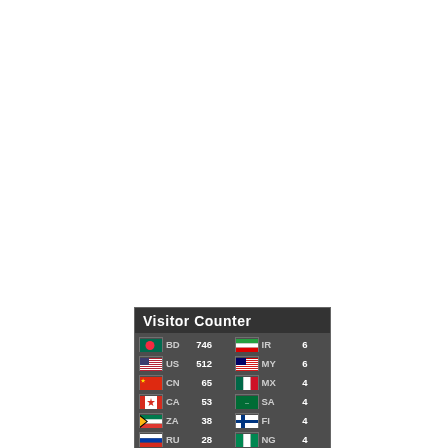[Figure (screenshot): Visitor Counter widget showing country flags, country codes, and visitor counts. Left column: BD 746, US 512, CN 65, CA 53, ZA 38, RU 28, DE 20, ID 14, IN 13. Right column: IR 6, MY 6, MX 4, SA 4, FI 4, NG 4, IE 3, UA 3, YE 3.]